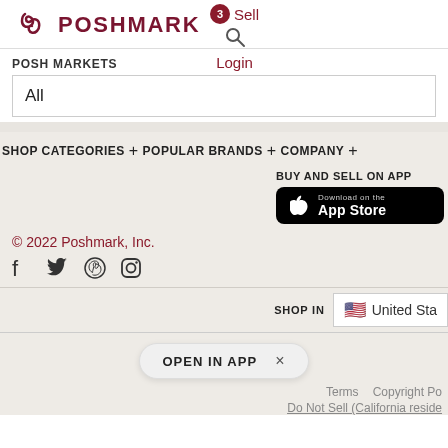[Figure (logo): Poshmark logo with interlocking P icon and POSHMARK wordmark in dark red/maroon]
Sell
Login
POSH MARKETS
All
SHOP CATEGORIES+ POPULAR BRANDS+ COMPANY+
BUY AND SELL ON APP
[Figure (other): Download on the App Store black button with Apple logo]
© 2022 Poshmark, Inc.
[Figure (other): Social media icons: Facebook, Twitter, Pinterest, Instagram]
SHOP IN   United Sta
OPEN IN APP  ×
Terms   Copyright Po
Do Not Sell (California reside